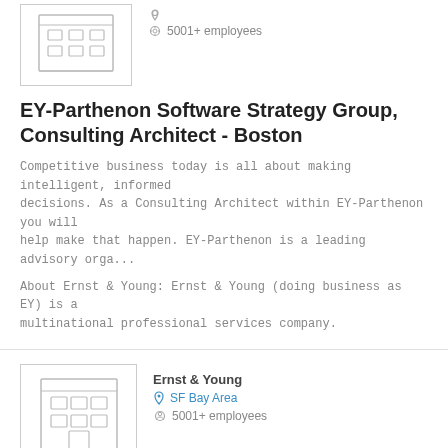[Figure (illustration): Building/office icon with grid windows, top section]
5001+ employees
EY-Parthenon Software Strategy Group, Consulting Architect - Boston
Competitive business today is all about making intelligent, informed decisions. As a Consulting Architect within EY-Parthenon you will help make that happen. EY-Parthenon is a leading advisory orga...
About Ernst & Young: Ernst & Young (doing business as EY) is a multinational professional services company.
[Figure (illustration): Building/office icon with trees at base, Ernst & Young logo area]
Ernst & Young
SF Bay Area
5001+ employees
Web Developer, Transaction Advisory Services - SharePoint Web Development and Analytics (Manager)(Multiple